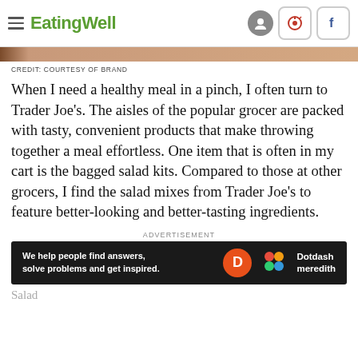EatingWell
CREDIT: COURTESY OF BRAND
When I need a healthy meal in a pinch, I often turn to Trader Joe's. The aisles of the popular grocer are packed with tasty, convenient products that make throwing together a meal effortless. One item that is often in my cart is the bagged salad kits. Compared to those at other grocers, I find the salad mixes from Trader Joe's to feature better-looking and better-tasting ingredients.
ADVERTISEMENT
[Figure (other): Dotdash Meredith advertisement banner: dark background with text 'We help people find answers, solve problems and get inspired.' with orange D logo and colorful dots logo]
Salad